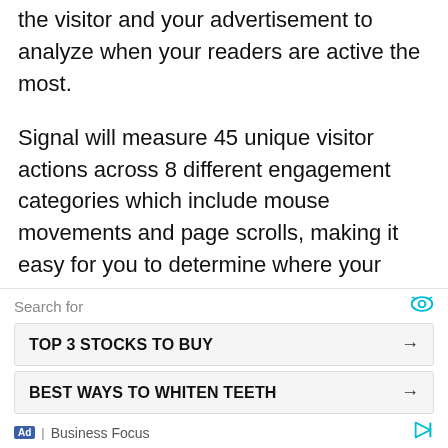the visitor and your advertisement to analyze when your readers are active the most.
Signal will measure 45 unique visitor actions across 8 different engagement categories which include mouse movements and page scrolls, making it easy for you to determine where your users have engaged the most.
As your engagement hits the time vs engagement threshold, this value could vary anywhere from 20-30 seconds or as per your requirement.
[Figure (other): Advertisement block with search prompt, two ad buttons (TOP 3 STOCKS TO BUY, BEST WAYS TO WHITEN TEETH), and Business Focus footer label]